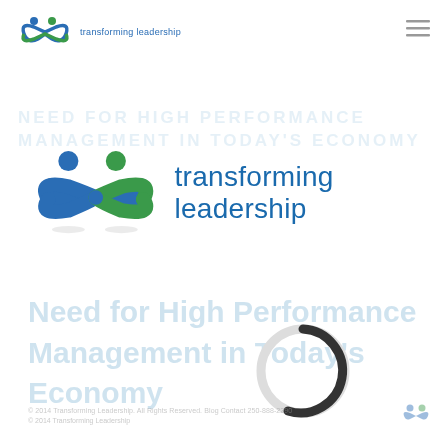[Figure (logo): Transforming Leadership small header logo with infinity symbol and two figures, blue and green, with text 'transforming leadership' in blue]
[Figure (logo): Hamburger menu icon (three horizontal lines) in top right corner]
[Figure (logo): Main Transforming Leadership logo — large infinity symbol with two figures (blue circle head left, green circle head right, blue and green intertwined ribbon), beside text 'transforming leadership' in large blue sans-serif font]
Need for High Performance Management in Today's Economy
[Figure (other): Circular loading spinner — mostly light gray ring with a small dark arc segment at bottom-right, indicating page loading]
© 2014 Transforming Leadership. All Rights Reserved. Blog Contact 250-888-2290
© 2014 Transforming Leadership